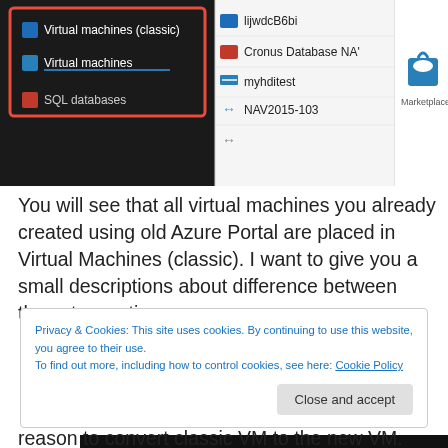[Figure (screenshot): Azure Portal screenshot showing Virtual machines (classic), Virtual machines (highlighted in red box), SQL databases menu items on the left, and a list of VMs including lijwdcB6bi, Cronus Database NA, myhditest, NAV2015-103, plus a Marketplace icon on the right]
You will see that all virtual machines you already created using old Azure Portal are placed in Virtual Machines (classic). I want to give you a small descriptions about difference between these two options.
[Figure (screenshot): Dark advertisement banner with white bold italic text 'we all have them!' and some icons]
REPORT THIS AD
Privacy & Cookies: This site uses cookies. By continuing to use this website, you agree to their use.
To find out more, including how to control cookies, see here: Cookie Policy
[Close and accept button]
reason to convert classic VM to the new VM. You just